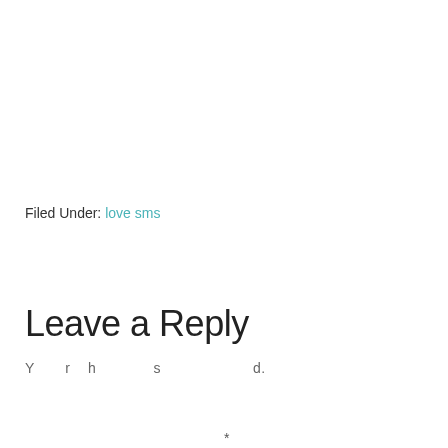Filed Under: love sms
Leave a Reply
Your email address will not be published.
*